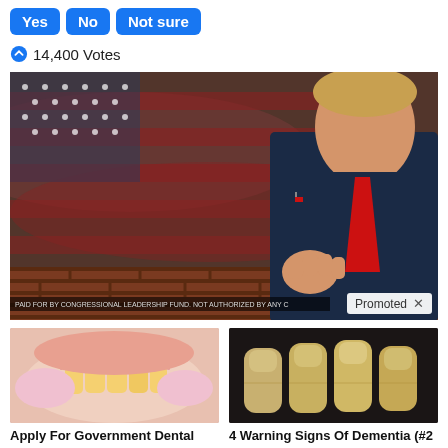Yes  No  Not sure
14,400 Votes
[Figure (photo): Promotional image featuring a man in a suit with a raised fist in front of an American flag and brick wall background, with 'PAID FOR BY CONGRESSIONAL LEADERSHIP FUND. NOT AUTHORIZED BY ANY C...' disclaimer text and a 'Promoted X' label overlay.]
[Figure (photo): Close-up photo of a dental procedure showing gold dental implants in a smiling person's mouth.]
Apply For Government Dental Implant Grants
12,381
[Figure (photo): Close-up photo of fingernails on a dark background, showing yellowish discoloration.]
4 Warning Signs Of Dementia (#2 Is Creepy)
30,503